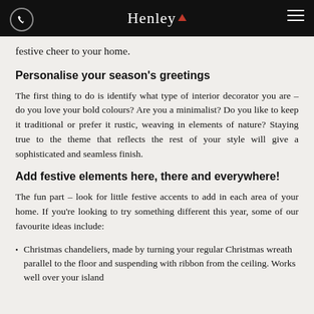Henley
festive cheer to your home.
Personalise your season's greetings
The first thing to do is identify what type of interior decorator you are – do you love your bold colours? Are you a minimalist? Do you like to keep it traditional or prefer it rustic, weaving in elements of nature? Staying true to the theme that reflects the rest of your style will give a sophisticated and seamless finish.
Add festive elements here, there and everywhere!
The fun part – look for little festive accents to add in each area of your home. If you're looking to try something different this year, some of our favourite ideas include:
Christmas chandeliers, made by turning your regular Christmas wreath parallel to the floor and suspending with ribbon from the ceiling. Works well over your island